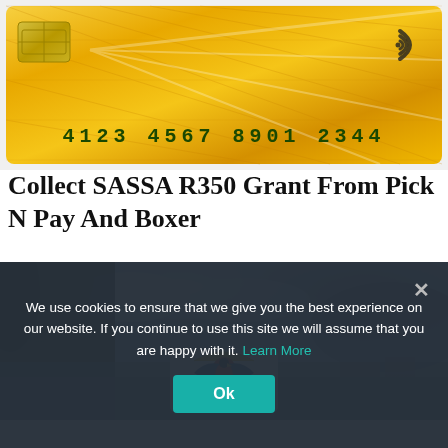[Figure (illustration): Gold/yellow credit card with chip, contactless symbol, and number 4123 4567 8901 2344]
Collect SASSA R350 Grant From Pick N Pay And Boxer
[Figure (photo): SASSA building with flag/logo visible against a cloudy sky, trees in background]
We use cookies to ensure that we give you the best experience on our website. If you continue to use this site we will assume that you are happy with it. Learn More
Ok